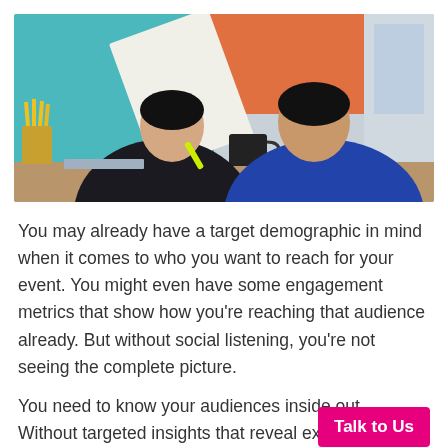[Figure (photo): Two professionals, a woman and a man, sitting at a desk reviewing a document together. The woman holds up a paper and points at it with a highlighter. There is a cup of yellow pencils on the left and a black mug on the desk. The background shows teal, orange, and grey wall panels.]
You may already have a target demographic in mind when it comes to who you want to reach for your event. You might even have some engagement metrics that show how you’re reaching that audience already. But without social listening, you’re not seeing the complete picture.
You need to know your audiences inside out. Without targeted insights that reveal ex[actly who your audience is, it is impossible to...]